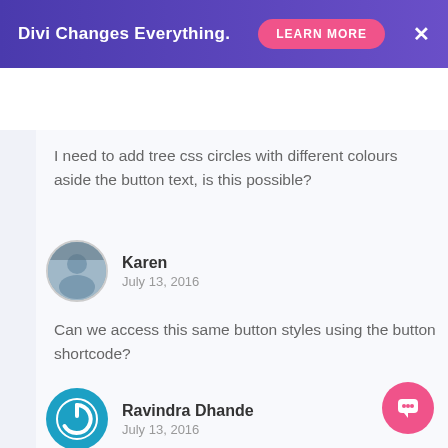[Figure (infographic): Divi promotional banner with gradient purple background, 'Divi Changes Everything.' text, pink 'LEARN MORE' button, and X close icon]
[Figure (logo): Elegant Themes logo with asterisk and 'themes' subtext, pink hamburger menu icon on right]
I need to add tree css circles with different colours aside the button text, is this possible?
Karen
July 13, 2016
Can we access this same button styles using the button shortcode?
Ravindra Dhande
July 13, 2016
Gr8 to see this kit. I see the divi team hea towards a way where developers would b able to develop such kits for users to buy. Good